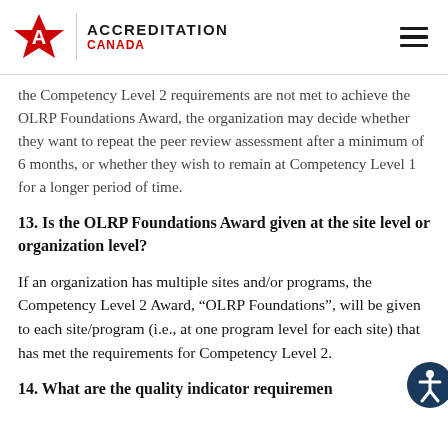ACCREDITATION CANADA
the Competency Level 2 requirements are not met to achieve the OLRP Foundations Award, the organization may decide whether they want to repeat the peer review assessment after a minimum of 6 months, or whether they wish to remain at Competency Level 1 for a longer period of time.
13. Is the OLRP Foundations Award given at the site level or organization level?
If an organization has multiple sites and/or programs, the Competency Level 2 Award, “OLRP Foundations”, will be given to each site/program (i.e., at one program level for each site) that has met the requirements for Competency Level 2.
14. What are the quality indicator requiremen